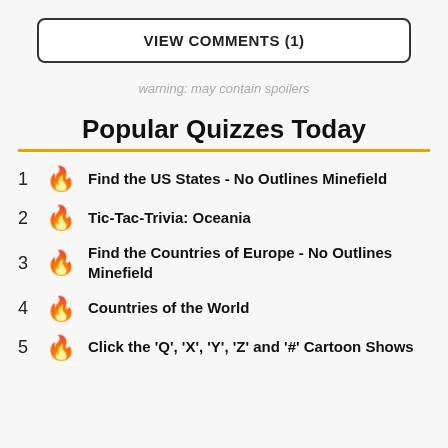VIEW COMMENTS (1)
warning: may contain spoilers
Popular Quizzes Today
1 Find the US States - No Outlines Minefield
2 Tic-Tac-Trivia: Oceania
3 Find the Countries of Europe - No Outlines Minefield
4 Countries of the World
5 Click the 'Q', 'X', 'Y', 'Z' and '#' Cartoon Shows